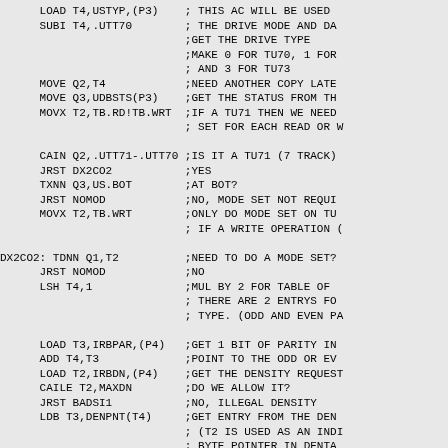Assembly language source code listing with inline comments showing drive mode and density table lookup logic for TU70/TU71/TU72/TU73 tape drives